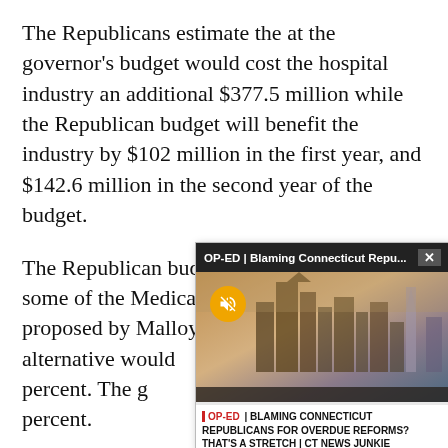The Republicans estimate the at the governor's budget would cost the hospital industry an additional $377.5 million while the Republican budget will benefit the industry by $102 million in the first year, and $142.6 million in the second year of the budget.
The Republican budget would also restore some of the Medicaid rate reductions proposed by Malloy. The Republican alternative would 2.8 percent. The g them 5.6 percent.
[Figure (screenshot): A video popup overlay with title bar reading 'OP-ED | Blaming Connecticut Repu...' with a close button, showing a city skyline image with a mute button, and a caption reading 'OP-ED | BLAMING CONNECTICUT REPUBLICANS FOR OVERDUE REFORMS? THAT'S A STRETCH | CT NEWS JUNKIE']
Taxes